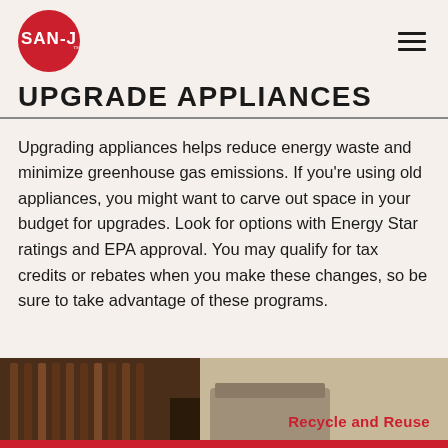SAN-J
UPGRADE APPLIANCES
Upgrading appliances helps reduce energy waste and minimize greenhouse gas emissions. If you're using old appliances, you might want to carve out space in your budget for upgrades. Look for options with Energy Star ratings and EPA approval. You may qualify for tax credits or rebates when you make these changes, so be sure to take advantage of these programs.
[Figure (photo): Kitchen interior photo showing wooden wine rack and furniture, partially visible at bottom of page. Overlaid text reads 'Recycle and Reuse' in red.]